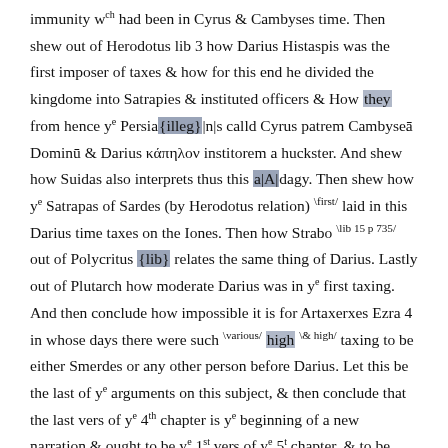immunity w had been in Cyrus & Cambyses time. Then shew out of Herodotus lib 3 how Darius Histaspis was the first imposer of taxes & how for this end he divided the kingdome into Satrapies & instituted officers & How they from hence y^e Persia{illeg}|n|s calld Cyrus patrem Cambyses Dominu & Darius κάπηλον institorem a huckster. And shew how Suidas also interprets thus this a|A|dagy. Then shew how y^e Satrapas of Sardes (by Herodotus relation) \first/ laid in this Darius time taxes on the Iones. Then how Strabo \lib 15 p 735/ out of Polycritus {lib} relates the same thing of Darius. Lastly out of Plutarch how moderate Darius was in y^e first taxing. And then conclude how impossible it is for Artaxerxes Ezra 4 in whose days there were such \various/ high \& high/ taxing to be either Smerdes or any other person before Darius. Let this be the last of y^e arguments on this subject, & then conclude that the last vers of y^e 4th chapter is y^e beginning of a new narration & ought to be y^e 1st vers of y^e 5^t chapter, & to be thus translated.